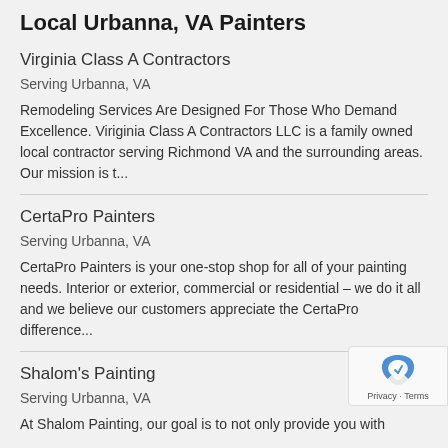Local Urbanna, VA Painters
Virginia Class A Contractors
Serving Urbanna, VA
Remodeling Services Are Designed For Those Who Demand Excellence. Viriginia Class A Contractors LLC is a family owned local contractor serving Richmond VA and the surrounding areas. Our mission is t...
CertaPro Painters
Serving Urbanna, VA
CertaPro Painters is your one-stop shop for all of your painting needs. Interior or exterior, commercial or residential – we do it all and we believe our customers appreciate the CertaPro difference...
Shalom's Painting
Serving Urbanna, VA
At Shalom Painting, our goal is to not only provide you with